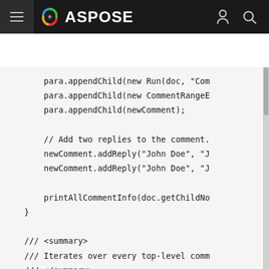ASPOSE
[Figure (screenshot): Code snippet showing Java code with appendChild calls, addReply calls, printAllCommentInfo call, closing brace, then a method definition with XML doc comments for printAllCommentInfo and a for loop iterating over comments.]